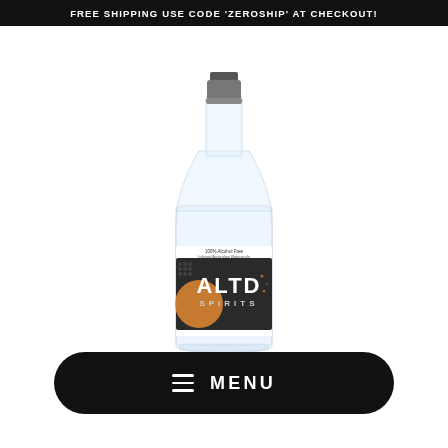FREE SHIPPING USE CODE 'ZEROSHIP' AT CHECKOUT!
[Figure (photo): Clear glass spirits bottle with a dark cap, featuring the ALTD Spirits label. The label is dark grey/black with bold white text reading 'ALTD SPIRITS', an orange circular graphic element, dot pattern, and small text reading '100% Alcohol Free Infused Australian Botanicals'.]
≡  MENU